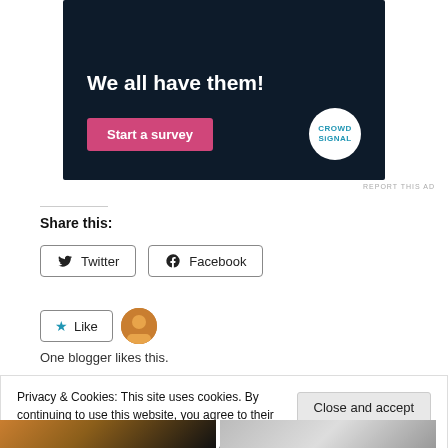[Figure (screenshot): Dark navy advertisement banner for Crowdsignal with text 'We all have them!' and a pink 'Start a survey' button, plus Crowdsignal logo circle]
REPORT THIS AD
Share this:
Twitter
Facebook
Like
One blogger likes this.
Privacy & Cookies: This site uses cookies. By continuing to use this website, you agree to their use.
To find out more, including how to control cookies, see here: Cookie Policy
Close and accept